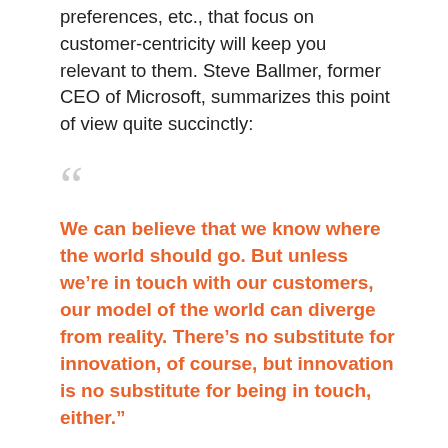activate against their needs, motivations, preferences, etc., that focus on customer-centricity will keep you relevant to them. Steve Ballmer, former CEO of Microsoft, summarizes this point of view quite succinctly:
We can believe that we know where the world should go. But unless we're in touch with our customers, our model of the world can diverge from reality. There's no substitute for innovation, of course, but innovation is no substitute for being in touch, either.
The winners in today's crowded financial services landscape will be those who put customer needs as the single most important requirement for product and services development. Here is a